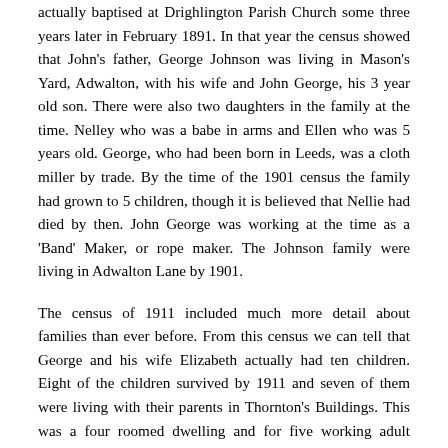actually baptised at Drighlington Parish Church some three years later in February 1891. In that year the census showed that John's father, George Johnson was living in Mason's Yard, Adwalton, with his wife and John George, his 3 year old son. There were also two daughters in the family at the time. Nelley who was a babe in arms and Ellen who was 5 years old. George, who had been born in Leeds, was a cloth miller by trade. By the time of the 1901 census the family had grown to 5 children, though it is believed that Nellie had died by then. John George was working at the time as a 'Band' Maker, or rope maker. The Johnson family were living in Adwalton Lane by 1901.
The census of 1911 included much more detail about families than ever before. From this census we can tell that George and his wife Elizabeth actually had ten children. Eight of the children survived by 1911 and seven of them were living with their parents in Thornton's Buildings. This was a four roomed dwelling and for five working adult people and four children to share it must have been very cramped. John George was shown as a 23 year old cloth miller at this time, like his father George.
By the time of his death in 1917 John George Johnson was actually living at the Waggon and Horses Public House in Adwalton. At the turn of the 20th century there were more than a dozen public houses in